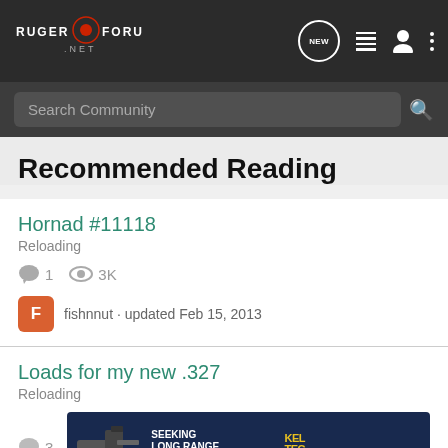Ruger Forum .net
Search Community
Recommended Reading
Hornad #11118
Reloading
1   3K
fishnnut · updated Feb 15, 2013
Loads for my new .327
Reloading
3
[Figure (photo): Kel-Tec CP33 pistol advertisement banner — SEEKING LONG RANGE RELATIONSHIP THE CP33 PISTOL]